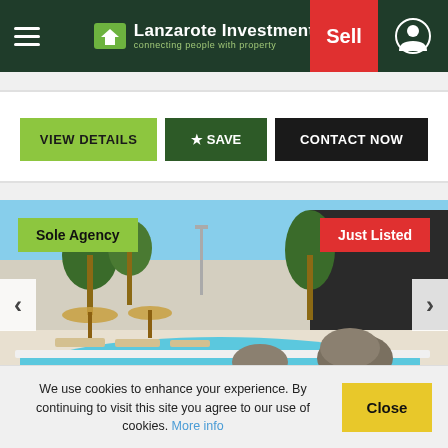[Figure (logo): Lanzarote Investments logo with hamburger menu, green logo icon, brand name, tagline, red Sell button, and profile icon on dark green header]
[Figure (infographic): Three action buttons: VIEW DETAILS (yellow-green), SAVE with star icon (dark green), CONTACT NOW (black)]
[Figure (photo): Property photo showing a swimming pool with volcanic rock formations, palm trees, sun loungers, and parasols. Overlaid with 'Sole Agency' badge (green, top-left) and 'Just Listed' badge (red, top-right). Navigation arrows on left and right sides.]
We use cookies to enhance your experience. By continuing to visit this site you agree to our use of cookies. More info